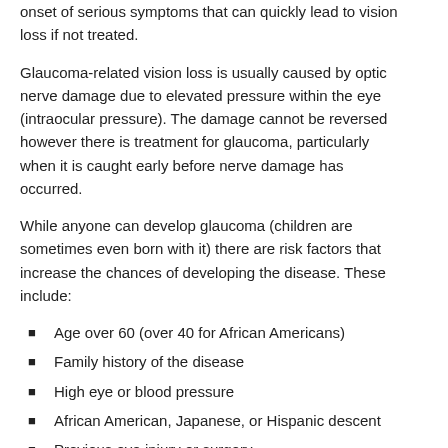onset of serious symptoms that can quickly lead to vision loss if not treated.
Glaucoma-related vision loss is usually caused by optic nerve damage due to elevated pressure within the eye (intraocular pressure). The damage cannot be reversed however there is treatment for glaucoma, particularly when it is caught early before nerve damage has occurred.
While anyone can develop glaucoma (children are sometimes even born with it) there are risk factors that increase the chances of developing the disease. These include:
Age over 60 (over 40 for African Americans)
Family history of the disease
High eye or blood pressure
African American, Japanese, or Hispanic descent
Previous eye injury or surgery
Diabetes
History of corticosteroid treatment